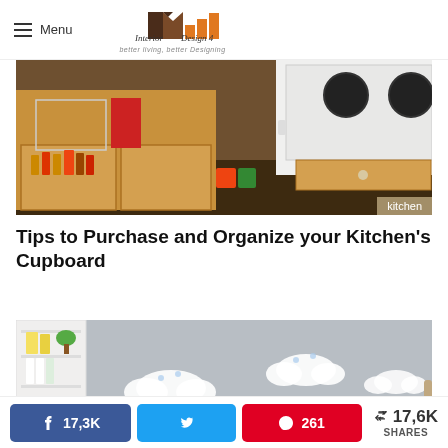Menu | Interior Design 4 — better living, better Designing
[Figure (photo): Kitchen interior showing open lower cabinets with organized goods, spices, and a cooktop on the right. Label 'kitchen' in bottom right corner.]
Tips to Purchase and Organize your Kitchen's Cupboard
[Figure (photo): Room with light grey walls decorated with white cloud wall decals and blue chevron wainscoting. White shelving unit on left with books and plants.]
17,3K  [twitter share]  261  < 17,6K SHARES